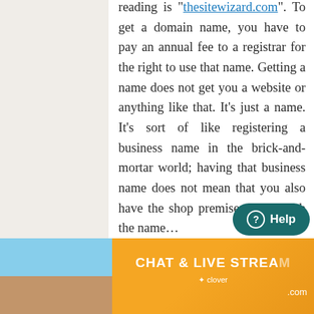reading is "thesitewizard.com". To get a domain name, you have to pay an annual fee to a registrar for the right to use that name. Getting a name does not get you a website or anything like that. It's just a name. It's sort of like registering a business name in the brick-and-mortar world; having that business name does not mean that you also have the shop premises to go with the name…
[Figure (infographic): Advertisement banner with orange background showing 'CHAT & LIVE STREAM' text, clover logo, a woman on a beach with heart icons on the left side, and a website domain on the right.]